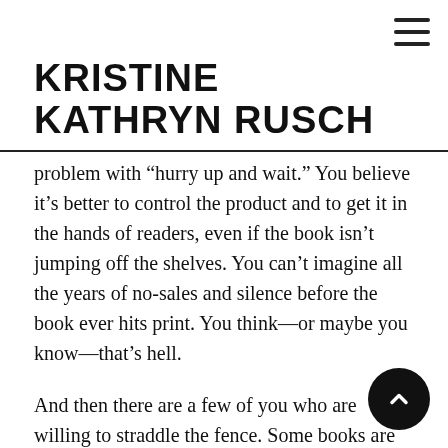KRISTINE KATHRYN RUSCH
KRISTINE KATHRYN RUSCH
problem with “hurry up and wait.” You believe it’s better to control the product and to get it in the hands of readers, even if the book isn’t jumping off the shelves. You can’t imagine all the years of no-sales and silence before the book ever hits print. You think—or maybe you know—that’s hell.
And then there are a few of you who are willing to straddle the fence. Some books are worth the wait and hurry up; others are hurry up and wait-ers. Some tried the wait and hurry up route, ran out of markets, and are now trying a new method. You’re hybrid writers who make the choice per book, not as an